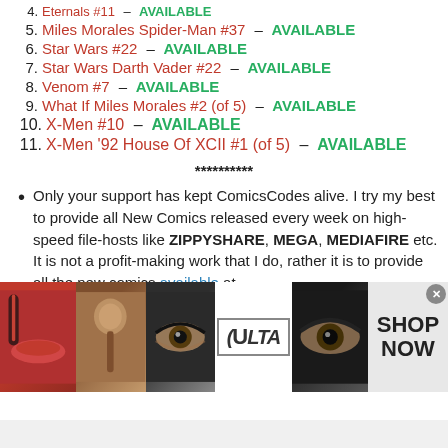4. Eternals #11 – AVAILABLE
5. Miles Morales Spider-Man #37 – AVAILABLE
6. Star Wars #22 – AVAILABLE
7. Star Wars Darth Vader #22 – AVAILABLE
8. Venom #7 – AVAILABLE
9. What If Miles Morales #2 (of 5) – AVAILABLE
10. X-Men #10 – AVAILABLE
11. X-Men '92 House Of XCII #1 (of 5) – AVAILABLE
**********
Only your support has kept ComicsCodes alive. I try my best to provide all New Comics released every week on high-speed file-hosts like ZIPPYSHARE, MEGA, MEDIAFIRE etc. It is not a profit-making work that I do, rather it is to provide all the new comics available at
[Figure (other): Ulta Beauty advertisement banner at the bottom of the page showing makeup product photos and a SHOP NOW call to action]